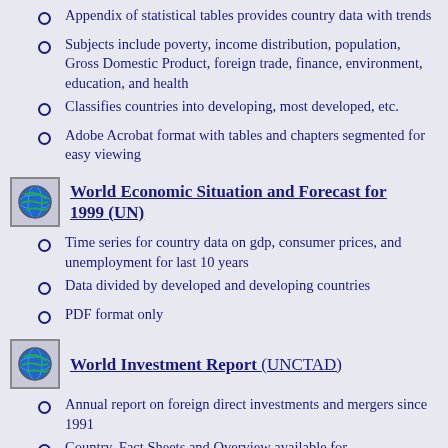Appendix of statistical tables provides country data with trends
Subjects include poverty, income distribution, population, Gross Domestic Product, foreign trade, finance, environment, education, and health
Classifies countries into developing, most developed, etc.
Adobe Acrobat format with tables and chapters segmented for easy viewing
World Economic Situation and Forecast for 1999 (UN)
Time series for country data on gdp, consumer prices, and unemployment for last 10 years
Data divided by developed and developing countries
PDF format only
World Investment Report (UNCTAD)
Annual report on foreign direct investments and mergers since 1991
Country, Fact Sheets and Overview available for